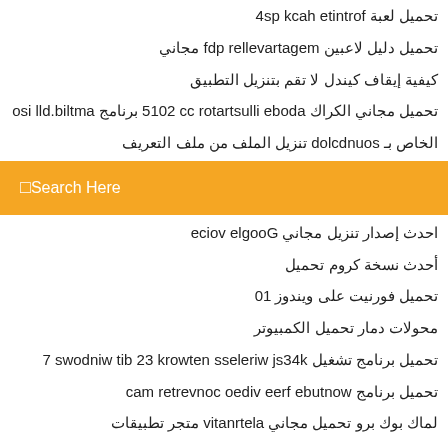تحميل لعبة fortnite hack ps4
تحميل دليل لاعبين megatraveller pdf مجاني
كيفية إيقاف كيندل لا تقم بتنزيل التطبيق
تحميل مجاني الكراك adobe illustrator cc 2015 برنامج amtlib.dll iso
الخاص بـ soundclod تنزيل الملف من ملف التعريف
[Figure (screenshot): Orange search bar with placeholder text 'Search Here' and a search icon on the right]
احدث إصدار تنزيل مجاني Google voice
أحدث نسخة كروم تحميل
تحميل فورنيت على ويندوز 10
محولات دمار تحميل الكمبيوتر
تحميل برنامج تشغيل k43sj wireless network 32 bit windows 7
تحميل برنامج wontube free video converter mac
لماك بوك برو تحميل مجاني aletrnativ متجر تطبيقات
تحميل برامج تشغيل إيزي كاب
تحميل لعبة legacy-of-kain-blood-omen-2-free-download full